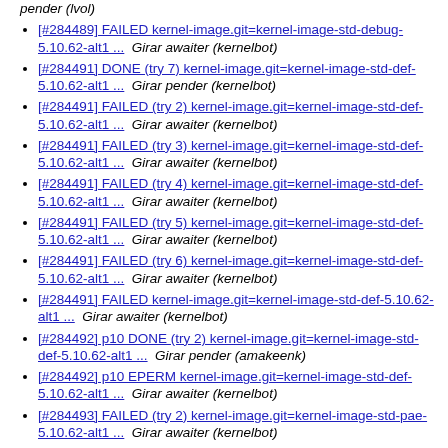pender (lvol)
[#284489] FAILED kernel-image.git=kernel-image-std-debug-5.10.62-alt1 ...  Girar awaiter (kernelbot)
[#284491] DONE (try 7) kernel-image.git=kernel-image-std-def-5.10.62-alt1 ...  Girar pender (kernelbot)
[#284491] FAILED (try 2) kernel-image.git=kernel-image-std-def-5.10.62-alt1 ...  Girar awaiter (kernelbot)
[#284491] FAILED (try 3) kernel-image.git=kernel-image-std-def-5.10.62-alt1 ...  Girar awaiter (kernelbot)
[#284491] FAILED (try 4) kernel-image.git=kernel-image-std-def-5.10.62-alt1 ...  Girar awaiter (kernelbot)
[#284491] FAILED (try 5) kernel-image.git=kernel-image-std-def-5.10.62-alt1 ...  Girar awaiter (kernelbot)
[#284491] FAILED (try 6) kernel-image.git=kernel-image-std-def-5.10.62-alt1 ...  Girar awaiter (kernelbot)
[#284491] FAILED kernel-image.git=kernel-image-std-def-5.10.62-alt1 ...  Girar awaiter (kernelbot)
[#284492] p10 DONE (try 2) kernel-image.git=kernel-image-std-def-5.10.62-alt1 ...  Girar pender (amakeenk)
[#284492] p10 EPERM kernel-image.git=kernel-image-std-def-5.10.62-alt1 ...  Girar awaiter (kernelbot)
[#284493] FAILED (try 2) kernel-image.git=kernel-image-std-pae-5.10.62-alt1 ...  Girar awaiter (kernelbot)
[#284493] FAILED kernel-image.git=kernel-image-std-pae-5.10.62-alt1 ...  Girar awaiter (kernelbot)